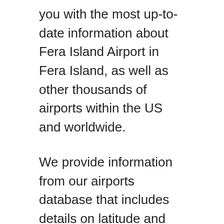you with the most up-to-date information about Fera Island Airport in Fera Island, as well as other thousands of airports within the US and worldwide.
We provide information from our airports database that includes details on latitude and longitude, airport code, location and phone number of Fera Island Airport and airports around the world.
We're putting our resources to make sure that the information is accurate. If you've found that Fera Island Airport information needs to get updated, please leave us a